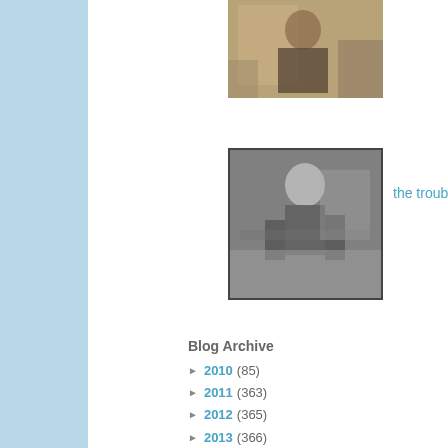[Figure (photo): Sepia-toned photograph of a person in dark clothing outdoors near a tent]
[Figure (photo): Black and white photograph of a person dancing or moving in a room]
the trouble with keppra
Blog Archive
► 2010 (85)
► 2011 (363)
► 2012 (365)
► 2013 (366)
► 2014 (154)
▼ 2015 (156)
► January (16)
► February (14)
► March (14)
► April (10)